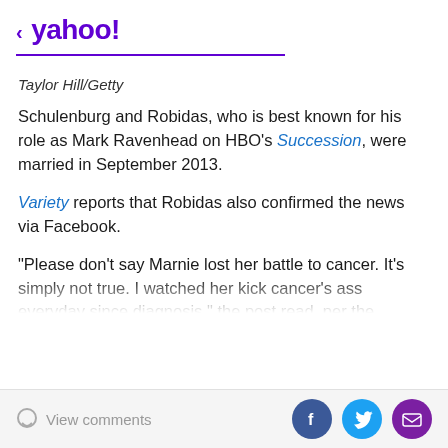< yahoo!
Taylor Hill/Getty
Schulenburg and Robidas, who is best known for his role as Mark Ravenhead on HBO's Succession, were married in September 2013.
Variety reports that Robidas also confirmed the news via Facebook.
"Please don't say Marnie lost her battle to cancer. It's simply not true. I watched her kick cancer's ass everyday since diagnosis," the post read, per the publication. "She is incredible. We chose to attack her diagnosis with blind optimism. We only talked about the future and continued
View comments